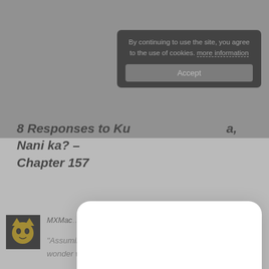By continuing to use the site, you agree to the use of cookies. more information
Accept
8 Responses to Ku…a, Nani ka? – Chapter 157
[Figure (screenshot): Modal dialog with bold text 'Click OK to Continue' and a blue 'OK' button, overlaid on a comment section of a blog page]
"Assuming that ogling at the men of the sea is decided, I wonder what should I do after that."
Ohh so her taste is for half-naked tanned muscular ossans who have a manly vibe and liek the sea? Thats quite the maniac fetish she has xD!
MXMac… SEPTEMBER 11, 2015 AT …PM
Hokoga SEPTEMBER 11, 2015 AT 12:39 PM